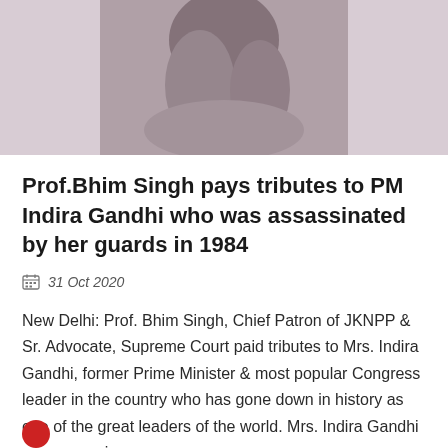[Figure (photo): Black and white photograph of a person, partially visible, with blurred background. Only the top portion of the image is visible.]
Prof.Bhim Singh pays tributes to PM Indira Gandhi who was assassinated by her guards in 1984
31 Oct 2020
New Delhi: Prof. Bhim Singh, Chief Patron of JKNPP & Sr. Advocate, Supreme Court paid tributes to Mrs. Indira Gandhi, former Prime Minister & most popular Congress leader in the country who has gone down in history as one of the great leaders of the world. Mrs. Indira Gandhi was assassina